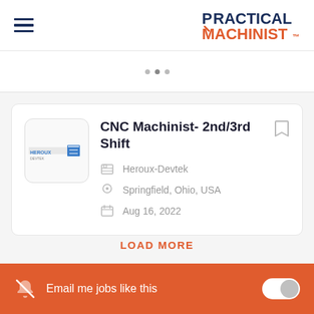Practical Machinist
[Figure (screenshot): Search bar / filter dots]
CNC Machinist- 2nd/3rd Shift
Heroux-Devtek
Springfield, Ohio, USA
Aug 16, 2022
LOAD MORE
Email me jobs like this